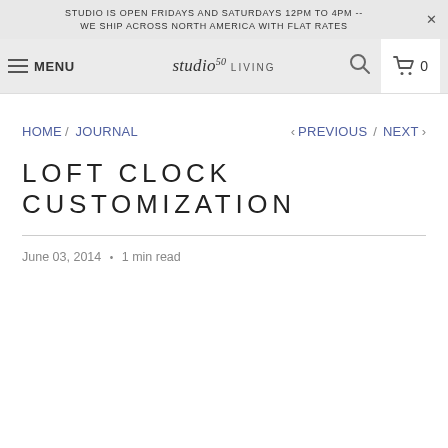STUDIO IS OPEN FRIDAYS AND SATURDAYS 12PM TO 4PM -- WE SHIP ACROSS NORTH AMERICA WITH FLAT RATES
MENU | studio50 LIVING | search | cart 0
HOME / JOURNAL < PREVIOUS / NEXT >
LOFT CLOCK CUSTOMIZATION
June 03, 2014 • 1 min read